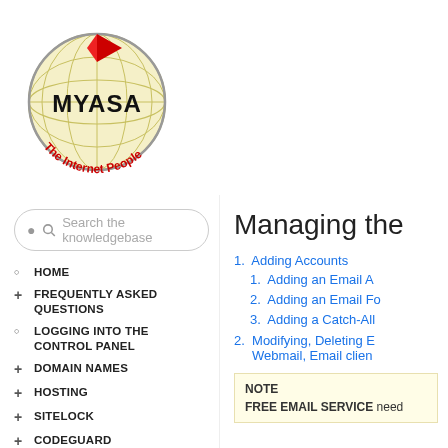[Figure (logo): MYASA logo - globe with red checkmark flag and text 'MYASA' and 'The Internet People']
Search the knowledgebase
HOME
FREQUENTLY ASKED QUESTIONS
LOGGING INTO THE CONTROL PANEL
DOMAIN NAMES
HOSTING
SITELOCK
CODEGUARD
SSL CERTIFICATES
G SUITE (FORMERLY GOOGLE APPS FOR WORK)
Managing the
1. Adding Accounts
1. Adding an Email A
2. Adding an Email Fo
3. Adding a Catch-All
2. Modifying, Deleting E Webmail, Email clien
NOTE
FREE EMAIL SERVICE need